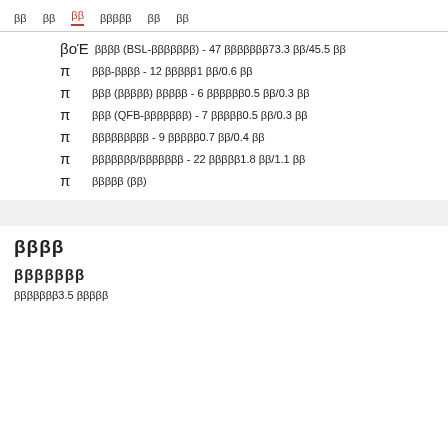ββ  ββ  ββ  βββββ  ββ  ββ
βοΈ ββββ (BSL-βββββββ) - 47 βββββββ73.3 ββ/45.5 ββ
π βββ-ββββ - 12 βββββ1 ββ/0.6 ββ
π βββ (βββββ) βββββ - 6 ββββββ0.5 ββ/0.3 ββ
π βββ (QFB-βββββββ) - 7 βββββ0.5 ββ/0.3 ββ
π βββββββββ - 9 βββββ0.7 ββ/0.4 ββ
π βββββββ/βββββββ - 22 βββββ1.8 ββ/1.1 ββ
π βββββ (ββ)
ββββ
βββββββ
βββββββ3.5 βββββ